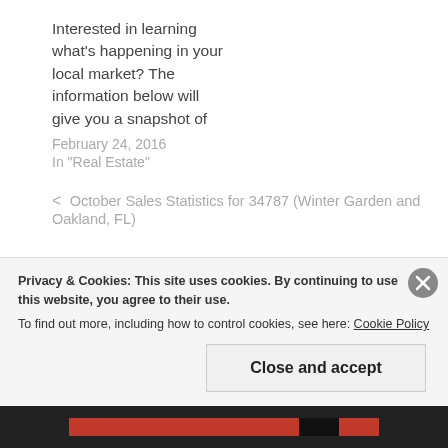Interested in learning what's happening in your local market? The information below will give you a snapshot of
February 24, 2016
In "Real Estate"
< October Sales Statistics for 34787 (Winter Garden and Oakland, FL)
Privacy & Cookies: This site uses cookies. By continuing to use this website, you agree to their use. To find out more, including how to control cookies, see here: Cookie Policy
Close and accept